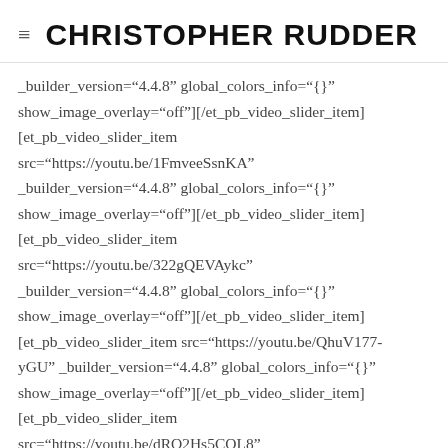≡ CHRISTOPHER RUDDER
_builder_version="4.4.8" global_colors_info="{}" show_image_overlay="off"][/et_pb_video_slider_item] [et_pb_video_slider_item src="https://youtu.be/1FmveeSsnKA" _builder_version="4.4.8" global_colors_info="{}" show_image_overlay="off"][/et_pb_video_slider_item] [et_pb_video_slider_item src="https://youtu.be/322gQEVAykc" _builder_version="4.4.8" global_colors_info="{}" show_image_overlay="off"][/et_pb_video_slider_item] [et_pb_video_slider_item src="https://youtu.be/QhuV177-yGU" _builder_version="4.4.8" global_colors_info="{}" show_image_overlay="off"][/et_pb_video_slider_item] [et_pb_video_slider_item src="https://youtu.be/dRO2Hs5COL8"